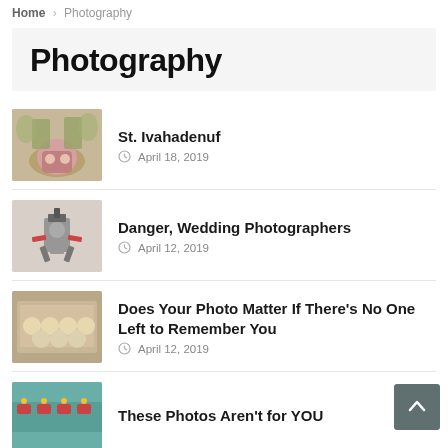Home > Photography
Photography
St. Ivahadenuf — April 18, 2019
Danger, Wedding Photographers — April 12, 2019
Does Your Photo Matter If There’s No One Left to Remember You — April 12, 2019
These Photos Aren’t for YOU